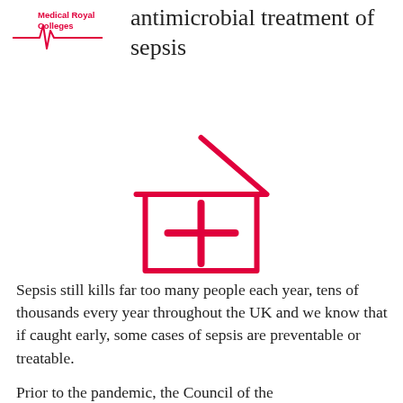[Figure (logo): Medical Royal Colleges logo with red text and heartbeat/ECG line graphic in red]
antimicrobial treatment of sepsis
[Figure (illustration): Red outline icon of a house with a medical cross (+) symbol inside, representing home medical treatment]
Sepsis still kills far too many people each year, tens of thousands every year throughout the UK and we know that if caught early, some cases of sepsis are preventable or treatable.
Prior to the pandemic, the Council of the